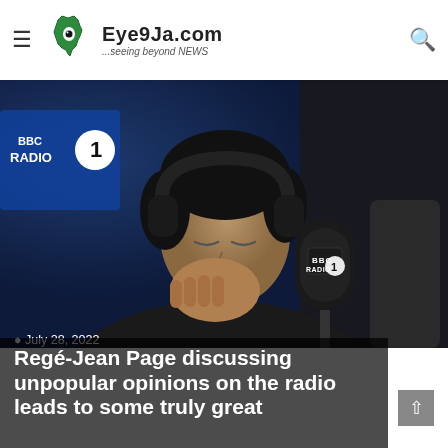Eye9Ja.com — ...seeing beyond NEWS
[Figure (photo): A man wearing headphones, leaning over a BBC Radio 1 microphone in a studio, appearing to laugh or think with his hand near his mouth. BBC Radio 1 branding visible on a blue background and on the microphone.]
July 28, 2022
Regé-Jean Page discussing unpopular opinions on the radio leads to some truly great